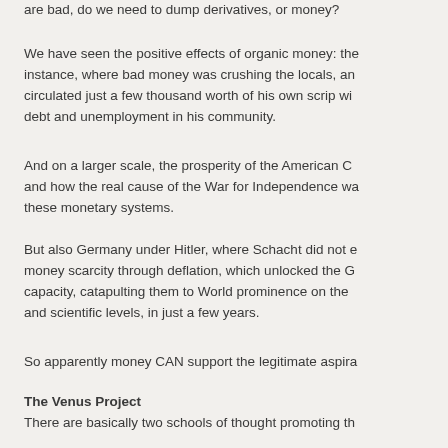are bad, do we need to dump derivatives, or money?
We have seen the positive effects of organic money: the instance, where bad money was crushing the locals, and circulated just a few thousand worth of his own scrip wi debt and unemployment in his community.
And on a larger scale, the prosperity of the American C and how the real cause of the War for Independence wa these monetary systems.
But also Germany under Hitler, where Schacht did not e money scarcity through deflation, which unlocked the G capacity, catapulting them to World prominence on the and scientific levels, in just a few years.
So apparently money CAN support the legitimate aspira
The Venus Project
There are basically two schools of thought promoting th the article we were referring to is part of a tradition that followers lived after his death and resurrection. Decentr demonetized, self sufficient.
But there is another ideology that promotes 'no money'